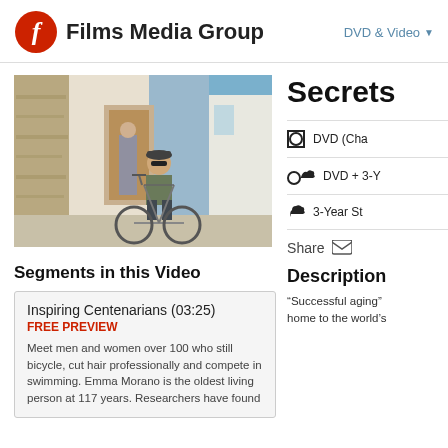[Figure (logo): Films Media Group logo with red circle F icon and bold text]
[Figure (photo): Elderly man riding a bicycle on a street, another person visible in background doorway]
Segments in this Video
Inspiring Centenarians (03:25)
FREE PREVIEW
Meet men and women over 100 who still bicycle, cut hair professionally and compete in swimming. Emma Morano is the oldest living person at 117 years. Researchers have found
Secrets
DVD (Cha
DVD + 3-Y
3-Year St
Share
Description
“Successful aging” home to the world’s